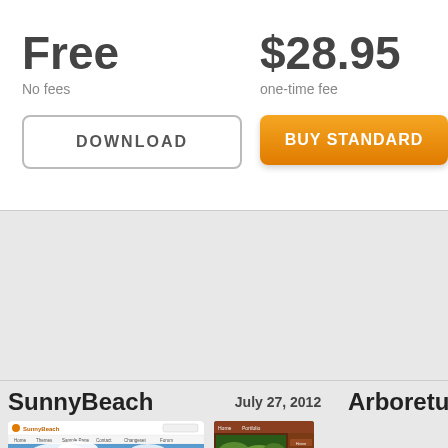Free
No fees
$28.95
one-time fee
DOWNLOAD
BUY STANDARD
SunnyBeach
July 27, 2012
Arboretum
[Figure (screenshot): SunnyBeach WordPress theme screenshot showing blue sky and tropical scene]
[Figure (screenshot): Arboretum theme screenshot with dark brown sidebar]